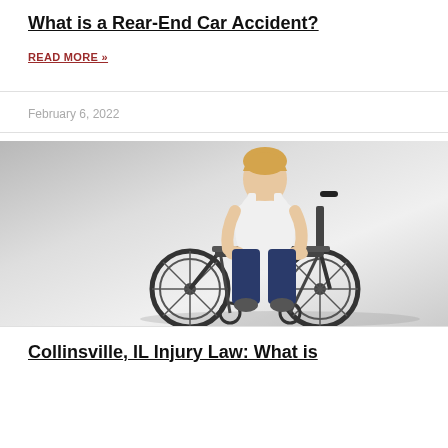What is a Rear-End Car Accident?
READ MORE »
February 6, 2022
[Figure (photo): Woman in a wheelchair, wearing a white sleeveless top and dark jeans, seated in a black wheelchair against a light gray gradient background.]
Collinsville, IL Injury Law: What is